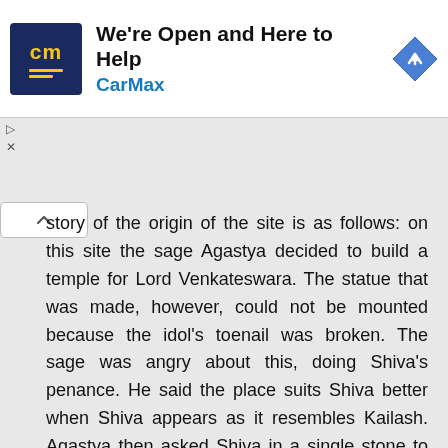[Figure (other): CarMax advertisement banner with logo, headline 'We're Open and Here to Help', subline 'CarMax', and a navigation/direction icon.]
story of the origin of the site is as follows: on this site the sage Agastya decided to build a temple for Lord Venkateswara. The statue that was made, however, could not be mounted because the idol's toenail was broken. The sage was angry about this, doing Shiva's penance. He said the place suits Shiva better when Shiva appears as it resembles Kailash. Agastya then asked Shiva in a single stone to send the devotees a Parvathi Goddess as Lord Uma Maheswara, coerced by Shiva.
A second version is as follows: Shiva's devotee Chitteppa worshiped Shiva and Shiva appeared as a tiger to him. Chitteppa realized that in tiger form it